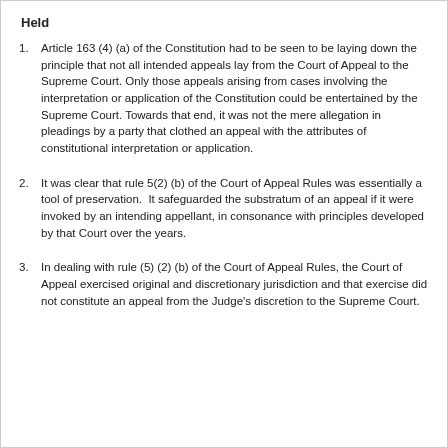Held
Article 163 (4) (a) of the Constitution had to be seen to be laying down the principle that not all intended appeals lay from the Court of Appeal to the Supreme Court. Only those appeals arising from cases involving the interpretation or application of the Constitution could be entertained by the Supreme Court. Towards that end, it was not the mere allegation in pleadings by a party that clothed an appeal with the attributes of constitutional interpretation or application.
It was clear that rule 5(2) (b) of the Court of Appeal Rules was essentially a tool of preservation.  It safeguarded the substratum of an appeal if it were invoked by an intending appellant, in consonance with principles developed by that Court over the years.
In dealing with rule (5) (2) (b) of the Court of Appeal Rules, the Court of Appeal exercised original and discretionary jurisdiction and that exercise did not constitute an appeal from the Judge's discretion to the Supreme Court.